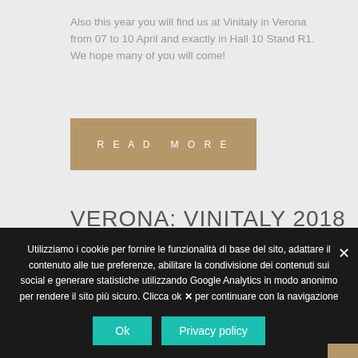Also this year you will find us at Vinitaly in Verona from 07 to 10 April and exactly in Hall 10 Stand R1. We hope many of you will come!
READ MORE
VERONA: VINITALY 2018
MARCH 31, 2020 | 0 COMMENT(S)
Utilizziamo i cookie per fornire le funzionalità di base del sito, adattare il contenuto alle tue preferenze, abilitare la condivisione dei contenuti sui social e generare statistiche utilizzando Google Analytics in modo anonimo per rendere il sito più sicuro. Clicca ok per continuare con la navigazione